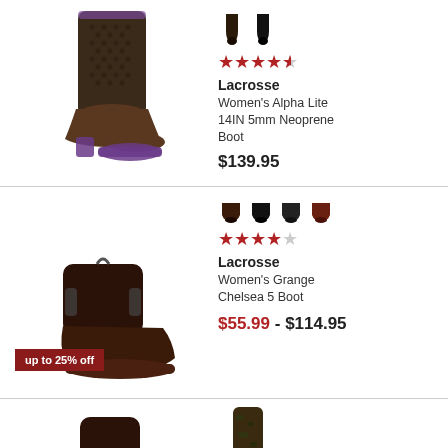[Figure (photo): Tall dark brown neoprene boot (Lacrosse Women's Alpha Lite 14IN 5mm)]
[Figure (photo): Two small color swatches of boot: dark brown/black]
★★★★½
Lacrosse
Women's Alpha Lite 14IN 5mm Neoprene Boot
$139.95
[Figure (photo): Dark brown Chelsea ankle boot (Lacrosse Women's Grange Chelsea 5)]
[Figure (photo): Four small color swatches of boot]
★★★★☆
Lacrosse
Women's Grange Chelsea 5 Boot
up to 25% off
$55.99 - $114.95
[Figure (photo): Partial boot images at bottom of page]